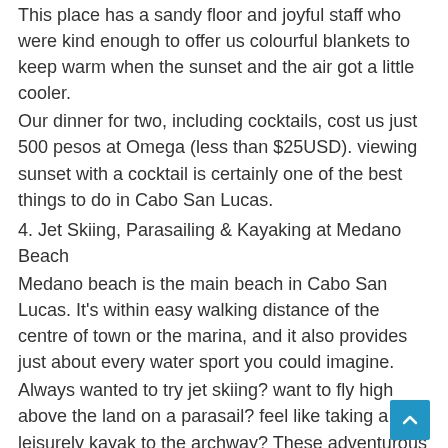This place has a sandy floor and joyful staff who were kind enough to offer us colourful blankets to keep warm when the sunset and the air got a little cooler.
Our dinner for two, including cocktails, cost us just 500 pesos at Omega (less than $25USD). viewing sunset with a cocktail is certainly one of the best things to do in Cabo San Lucas.
4. Jet Skiing, Parasailing & Kayaking at Medano Beach
Medano beach is the main beach in Cabo San Lucas. It's within easy walking distance of the centre of town or the marina, and it also provides just about every water sport you could imagine.
Always wanted to try jet skiing? want to fly high above the land on a parasail? feel like taking a leisurely kayak to the archway? These adventurous things to do in Cabo can all be done at Medano Beach.
The beach is also home to numerous beachfront bars and